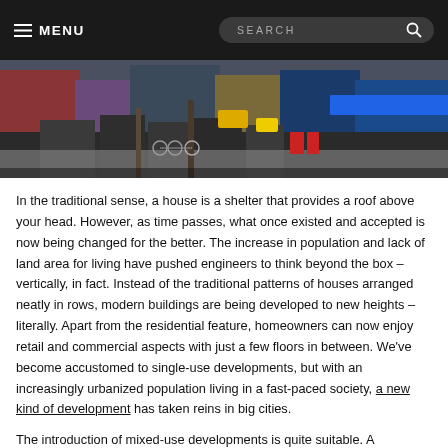☰ MENU  SEARCH
[Figure (photo): Street-level photo of an urban commercial area with storefronts, parked bicycles, pedestrians, and a colorful outdoor scene including a blue awning and red trash bins.]
In the traditional sense, a house is a shelter that provides a roof above your head. However, as time passes, what once existed and accepted is now being changed for the better. The increase in population and lack of land area for living have pushed engineers to think beyond the box – vertically, in fact. Instead of the traditional patterns of houses arranged neatly in rows, modern buildings are being developed to new heights – literally. Apart from the residential feature, homeowners can now enjoy retail and commercial aspects with just a few floors in between. We've become accustomed to single-use developments, but with an increasingly urbanized population living in a fast-paced society, a new kind of development has taken reins in big cities.
The introduction of mixed-use developments is quite suitable. A